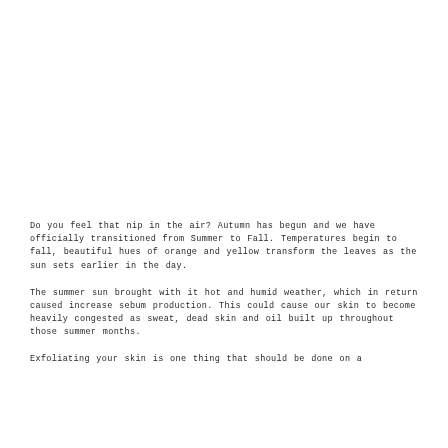Do you feel that nip in the air? Autumn has begun and we have officially transitioned from Summer to Fall. Temperatures begin to fall, beautiful hues of orange and yellow transform the leaves as the sun sets earlier in the day.
The summer sun brought with it hot and humid weather, which in return caused increase sebum production. This could cause our skin to become heavily congested as sweat, dead skin and oil built up throughout those summer months.
Exfoliating your skin...